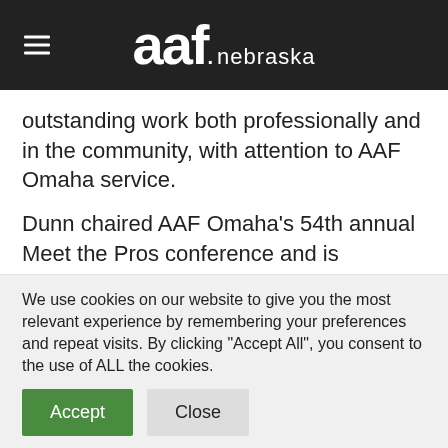aaf. nebraska
outstanding work both professionally and in the community, with attention to AAF Omaha service.
Dunn chaired AAF Omaha's 54th annual Meet the Pros conference and is currently co-chairing the student conference again in 2017. She serves on the AAF Omaha Board of Directors. Dunn graduated from the University of Nebraska at Omaha (UNO) in one of 2014. She then graduated
We use cookies on our website to give you the most relevant experience by remembering your preferences and repeat visits. By clicking “Accept All”, you consent to the use of ALL the cookies.
Accept
Close